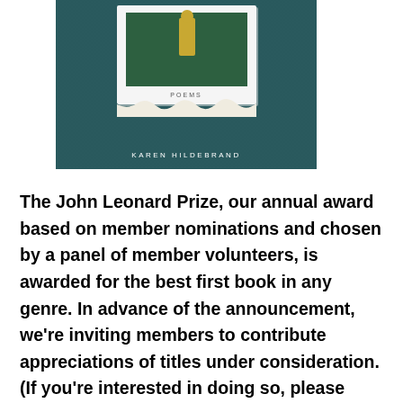[Figure (photo): Book cover of a poetry collection by Karen Hildebrand, shown against a teal/dark blue textured fabric background. The cover displays a photograph of a postcard-like image with a yellow figure on a green background, surrounded by torn paper edges. The word POEMS appears in small caps near the center, and KAREN HILDEBRAND appears in small white caps at the bottom.]
The John Leonard Prize, our annual award based on member nominations and chosen by a panel of member volunteers, is awarded for the best first book in any genre. In advance of the announcement, we're inviting members to contribute appreciations of titles under consideration. (If you're interested in doing so, please email nbcccritics@gmail.com with the